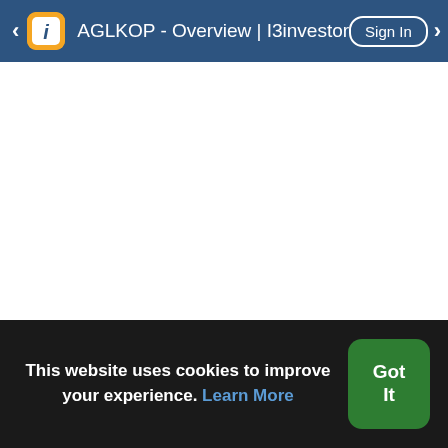AGLKOP - Overview | I3investor
[Figure (screenshot): White blank content area - main page body with no loaded content visible]
This website uses cookies to improve your experience. Learn More
Got It